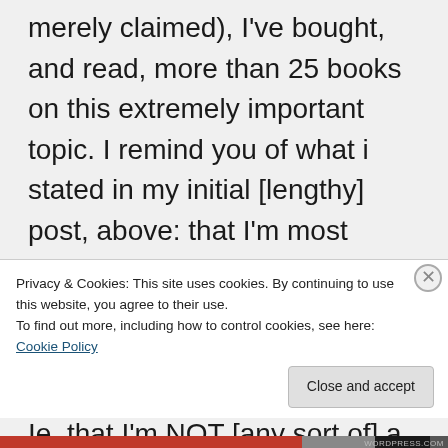merely claimed), I've bought, and read, more than 25 books on this extremely important topic. I remind you of what i stated in my initial [lengthy] post, above: that I'm most definitely not 'religious' {thought I most definitely AM spiritually-enlightened [also see the two lengthy posts of mine, above]. Ie, that I'm NOT [any sort of] a 'Christian'. The books on this
Privacy & Cookies: This site uses cookies. By continuing to use this website, you agree to their use.
To find out more, including how to control cookies, see here: Cookie Policy
Close and accept